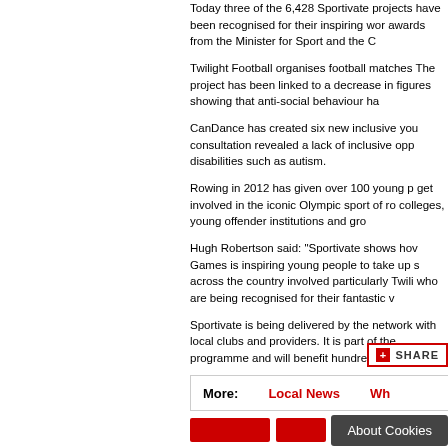Today three of the 6,428 Sportivate projects have been recognised for their inspiring work, awards from the Minister for Sport and the C
Twilight Football organises football matches. The project has been linked to a decrease in figures showing that anti-social behaviour ha
CanDance has created six new inclusive you consultation revealed a lack of inclusive opp disabilities such as autism.
Rowing in 2012 has given over 100 young p get involved in the iconic Olympic sport of ro colleges, young offender institutions and gro
Hugh Robertson said: "Sportivate shows hov Games is inspiring young people to take up s across the country involved particularly Twili who are being recognised for their fantastic v
Sportivate is being delivered by the network with local clubs and providers. It is part of the programme and will benefit hundreds of thou